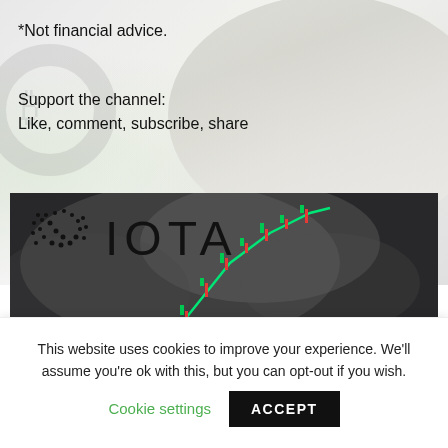*Not financial advice.
Support the channel:
Like, comment, subscribe, share
[Figure (illustration): IOTA Price Prediction thumbnail showing the IOTA logo (dot-matrix spiral icon and IOTA text) with 'PRICE PREDICTION' label on a dark moody background with candlestick chart lines trending upward in green/red and a glowing network node illustration on the right.]
This website uses cookies to improve your experience. We'll assume you're ok with this, but you can opt-out if you wish.
Cookie settings
ACCEPT